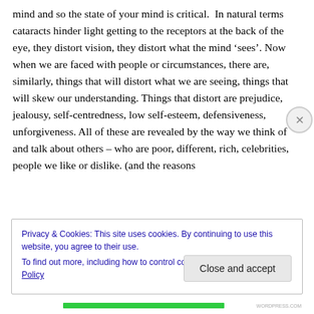mind and so the state of your mind is critical. In natural terms cataracts hinder light getting to the receptors at the back of the eye, they distort vision, they distort what the mind 'sees'. Now when we are faced with people or circumstances, there are, similarly, things that will distort what we are seeing, things that will skew our understanding. Things that distort are prejudice, jealousy, self-centredness, low self-esteem, defensiveness, unforgiveness. All of these are revealed by the way we think of and talk about others – who are poor, different, rich, celebrities, people we like or dislike. (and the reasons
Privacy & Cookies: This site uses cookies. By continuing to use this website, you agree to their use.
To find out more, including how to control cookies, see here: Cookie Policy
Close and accept